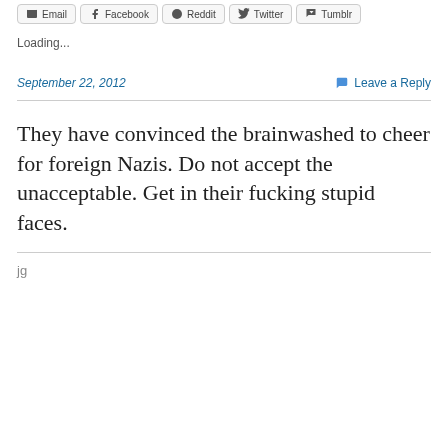Email | Facebook | Reddit | Twitter | Tumblr
Loading...
September 22, 2012   Leave a Reply
They have convinced the brainwashed to cheer for foreign Nazis. Do not accept the unacceptable. Get in their fucking stupid faces.
jg